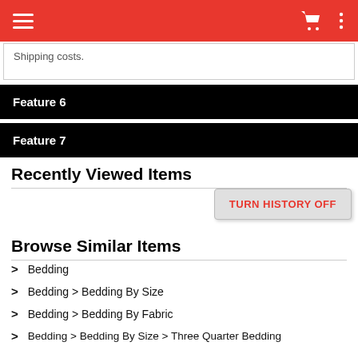Navigation bar with hamburger menu, cart icon, and options icon
Shipping costs.
Feature 6
Feature 7
Recently Viewed Items
TURN HISTORY OFF
Browse Similar Items
Bedding
Bedding > Bedding By Size
Bedding > Bedding By Fabric
Bedding > Bedding By Size > Three Quarter Bedding